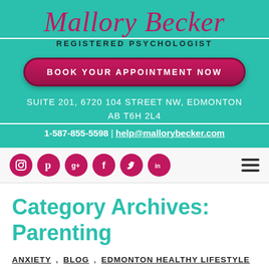Mallory Becker
REGISTERED PSYCHOLOGIST
BOOK YOUR APPOINTMENT NOW
SUITE 201, 6720 104 STREET NW, EDMONTON AB T6H 2L4
1-587-855-5598 | help@mallorybecker.com
[Figure (infographic): Social media icon bar with Instagram, Pinterest, Google+, Facebook, Twitter, LinkedIn icons in pink circles, and a hamburger menu icon on the right]
Category Archives: Parenting
ANXIETY , BLOG , EDMONTON HEALTHY LIFESTYLE